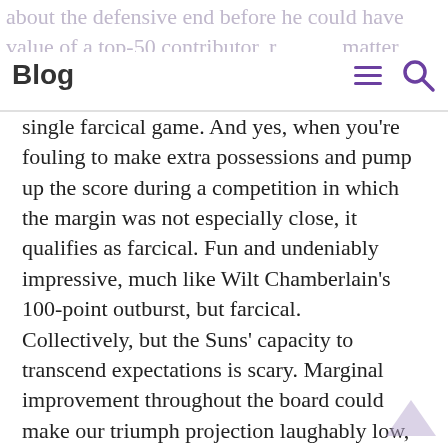Blog
single farcical game. And yes, when you're fouling to make extra possessions and pump up the score during a competition in which the margin was not especially close, it qualifies as farcical. Fun and undeniably impressive, much like Wilt Chamberlain's 100-point outburst, but farcical.
Collectively, but the Suns' capacity to transcend expectations is scary. Marginal improvement throughout the board could make our triumph projection laughably low, irrespective of how hard it may be to compete at the Western Conference.
Over just is not the bet. The smart play remains anticipating just a few extra wins upon last year's mark (24-58) since the young